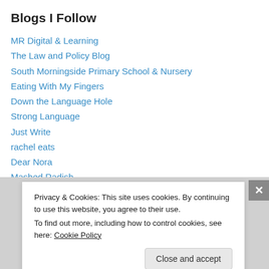Blogs I Follow
MR Digital & Learning
The Law and Policy Blog
South Morningside Primary School & Nursery
Eating With My Fingers
Down the Language Hole
Strong Language
Just Write
rachel eats
Dear Nora
Mashed Radish
Privacy & Cookies: This site uses cookies. By continuing to use this website, you agree to their use. To find out more, including how to control cookies, see here: Cookie Policy